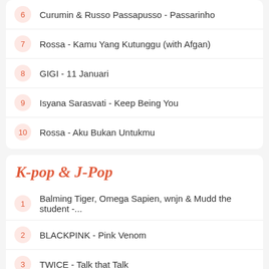6 Curumin & Russo Passapusso - Passarinho
7 Rossa - Kamu Yang Kutunggu (with Afgan)
8 GIGI - 11 Januari
9 Isyana Sarasvati - Keep Being You
10 Rossa - Aku Bukan Untukmu
K-pop & J-Pop
1 Balming Tiger, Omega Sapien, wnjn & Mudd the student -...
2 BLACKPINK - Pink Venom
3 TWICE - Talk that Talk
4 IVE - After LIKE